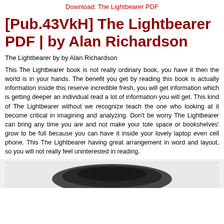Download: The Lightbearer PDF
[Pub.43VkH] The Lightbearer PDF | by Alan Richardson
The Lightbearer by by Alan Richardson
This The Lightbearer book is not really ordinary book, you have it then the world is in your hands. The benefit you get by reading this book is actually information inside this reserve incredible fresh, you will get information which is getting deeper an individual read a lot of information you will get. This kind of The Lightbearer without we recognize teach the one who looking at it become critical in imagining and analyzing. Don't be worry The Lightbearer can bring any time you are and not make your tote space or bookshelves' grow to be full because you can have it inside your lovely laptop even cell phone. This The Lightbearer having great arrangement in word and layout, so you will not really feel uninterested in reading.
[Figure (photo): Partial image of a dark blurred object at the bottom of the page]